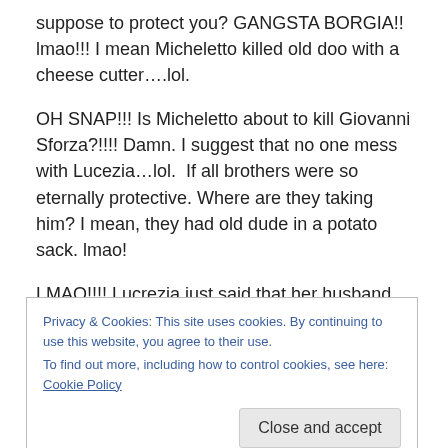suppose to protect you? GANGSTA BORGIA!! lmao!!! I mean Micheletto killed old doo with a cheese cutter….lol.
OH SNAP!!! Is Micheletto about to kill Giovanni Sforza?!!!! Damn. I suggest that no one mess with Lucezia…lol.  If all brothers were so eternally protective. Where are they taking him? I mean, they had old dude in a potato sack. lmao!
LMAO!!!! Lucrezia just said that her husband Sforza is impotent. And then the Vatican lawyer suggested that he publicly prove his potency. lol… hilarious!!! Sforza looks
Privacy & Cookies: This site uses cookies. By continuing to use this website, you agree to their use.
To find out more, including how to control cookies, see here: Cookie Policy
Close and accept